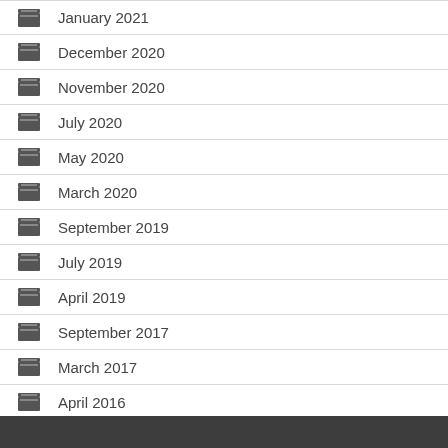January 2021
December 2020
November 2020
July 2020
May 2020
March 2020
September 2019
July 2019
April 2019
September 2017
March 2017
April 2016